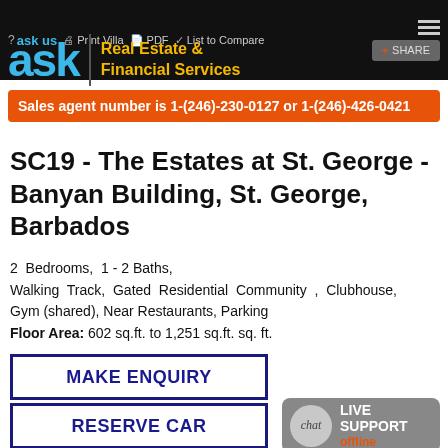ask | Real Estate & Financial Services
Sales agent number is 1-(246)-230-0127 or 1-(246)-426-0421
SC19 - The Estates at St. George - Banyan Building, St. George, Barbados
2 Bedrooms, 1 - 2 Baths, Walking Track, Gated Residential Community , Clubhouse, Gym (shared), Near Restaurants, Parking
Floor Area: 602 sq.ft. to 1,251 sq.ft. sq. ft.
MAKE ENQUIRY
RESERVE CAR
MAKE AN OFFER
[Figure (other): Live chat widget showing chat bubble icon with LIVE SUPPORT offline text]